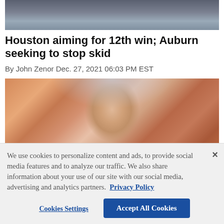[Figure (photo): Partial photo of a person, top portion cropped, showing dark background]
Houston aiming for 12th win; Auburn seeking to stop skid
By John Zenor Dec. 27, 2021 06:03 PM EST
[Figure (photo): Football coach wearing a headset and orange hoodie, facing right, blurred crowd in background]
We use cookies to personalize content and ads, to provide social media features and to analyze our traffic. We also share information about your use of our site with our social media, advertising and analytics partners. Privacy Policy
Cookies Settings
Accept All Cookies